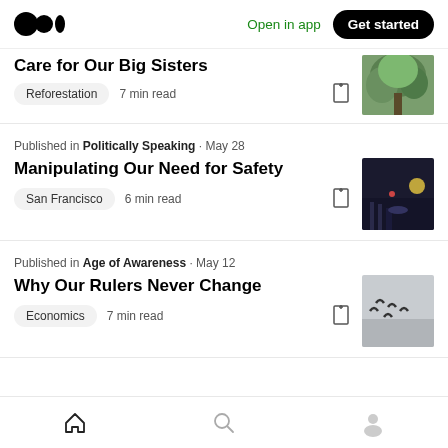Medium logo | Open in app | Get started
Care for Our Big Sisters
Reforestation  7 min read
Published in Politically Speaking · May 28
Manipulating Our Need for Safety
San Francisco  6 min read
Published in Age of Awareness · May 12
Why Our Rulers Never Change
Economics  7 min read
Home | Search | Profile